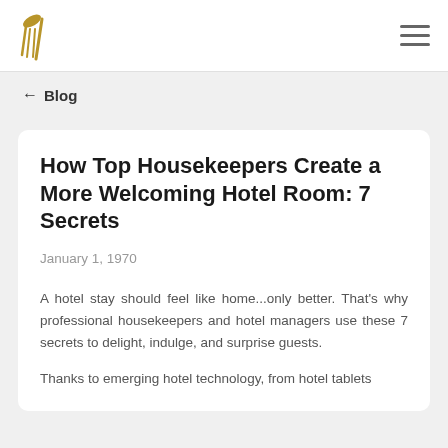[Logo: broom icon] [Hamburger menu]
← Blog
How Top Housekeepers Create a More Welcoming Hotel Room: 7 Secrets
January 1, 1970
A hotel stay should feel like home...only better. That's why professional housekeepers and hotel managers use these 7 secrets to delight, indulge, and surprise guests.
Thanks to emerging hotel technology, from hotel tablets